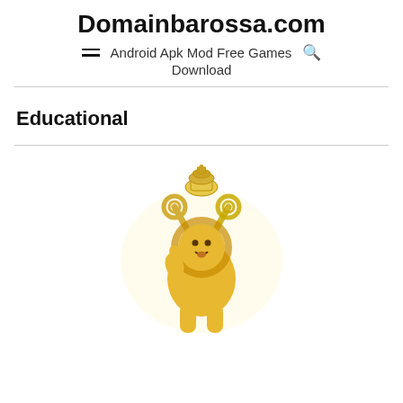Domainbarossa.com
Android Apk Mod Free Games Download
Educational
[Figure (logo): Partial coat of arms logo with golden lion, crossed keys, and crown on a white background, partially visible at bottom of page.]